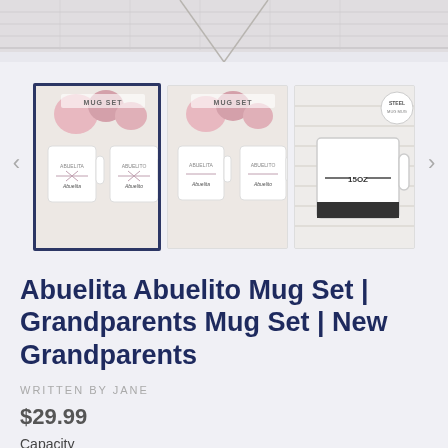[Figure (photo): Top decorative area with wooden plank background and hanging strings]
[Figure (photo): Product image gallery showing three thumbnail images of Abuelita Abuelito mug sets. First thumbnail (selected/highlighted) shows two mugs with floral design and text MUG SET, second shows same mugs without border, third shows a single white mug with 15OZ label and STEEL badge.]
Abuelita Abuelito Mug Set | Grandparents Mug Set | New Grandparents
WRITTEN BY JANE
$29.99
Capacity